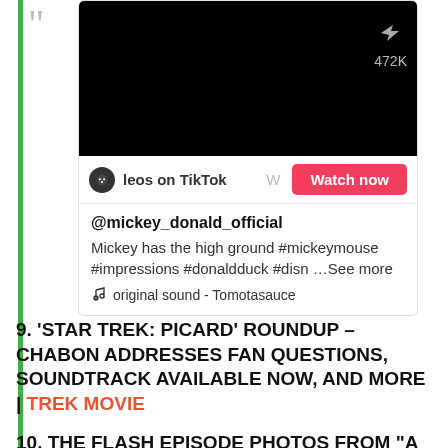[Figure (screenshot): TikTok embed card showing a video thumbnail with a share icon and 472K count, a 'leos on TikTok' label with a 'Watch now' button, the handle @mickey_donald_official, description text 'Mickey has the high ground #mickeymouse #impressions #donaldduck #disn ...See more', and 'original sound - Tomotasauce']
9. 'STAR TREK: PICARD' ROUNDUP – CHABON ADDRESSES FAN QUESTIONS, SOUNDTRACK AVAILABLE NOW, AND MORE | TREK MOVIE
10. THE FLASH EPISODE PHOTOS FROM "A GIRL NAMED SUE" REVEAL RALPH DIBNY'S